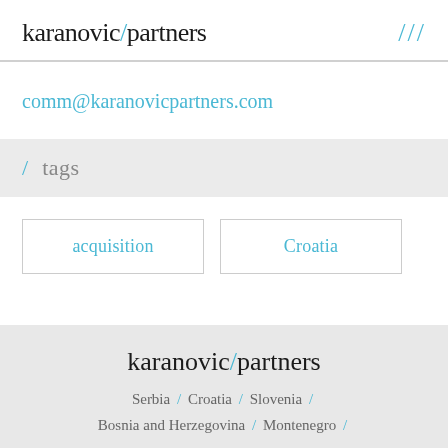karanovic/partners ///
comm@karanovicpartners.com
/ tags
acquisition
Croatia
karanovic/partners
Serbia / Croatia / Slovenia /
Bosnia and Herzegovina / Montenegro /